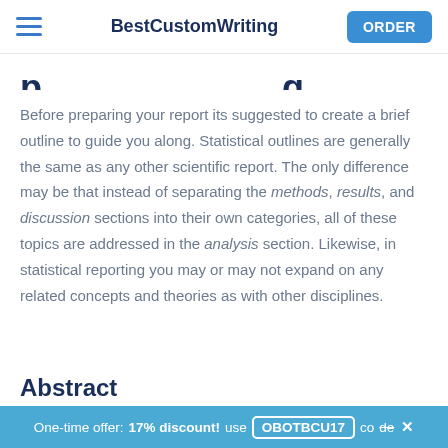BestCustomWriting  ORDER
p...g (partial, cropped)
Before preparing your report its suggested to create a brief outline to guide you along. Statistical outlines are generally the same as any other scientific report. The only difference may be that instead of separating the methods, results, and discussion sections into their own categories, all of these topics are addressed in the analysis section. Likewise, in statistical reporting you may or may not expand on any related concepts and theories as with other disciplines.
Abstract
One-time offer: 17% discount! use OBOTBCU17 code